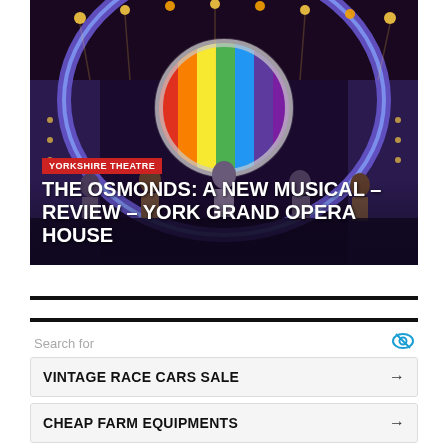[Figure (photo): Theater stage photo showing performers in front of a large circular rainbow backdrop with colorful stage lighting. Text overlays include 'YORKSHIRE THEATRE' in a red badge and the title 'THE OSMONDS: A NEW MUSICAL – REVIEW – YORK GRAND OPERA HOUSE' in bold white text.]
THE OSMONDS: A NEW MUSICAL – REVIEW – YORK GRAND OPERA HOUSE
Search for
VINTAGE RACE CARS SALE
CHEAP FARM EQUIPMENTS